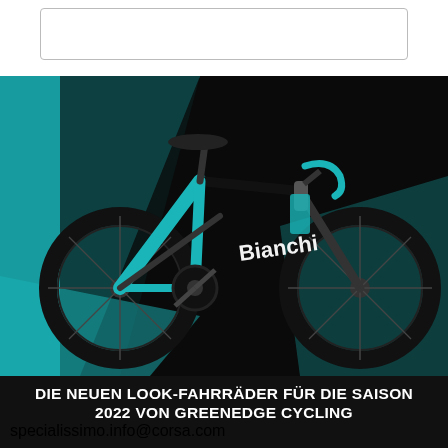[Figure (photo): A Bianchi road bicycle in black and teal/celeste colorway, displayed against a dark background with teal geometric shapes. The bike features drop handlebars, disc brakes, and deep-section carbon wheels. The Bianchi logo is visible on the frame in white.]
DIE NEUEN LOOK-FAHRRÄDER FÜR DIE SAISON 2022 VON GREENEDGE CYCLING